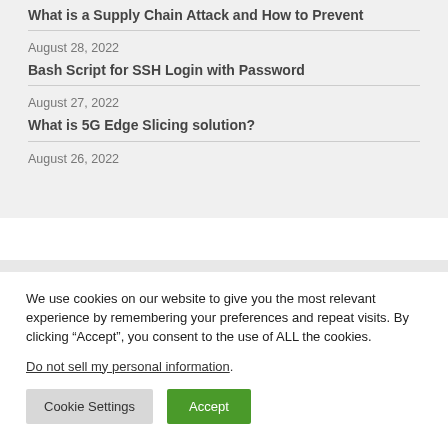What is a Supply Chain Attack and How to Prevent
August 28, 2022
Bash Script for SSH Login with Password
August 27, 2022
What is 5G Edge Slicing solution?
August 26, 2022
We use cookies on our website to give you the most relevant experience by remembering your preferences and repeat visits. By clicking “Accept”, you consent to the use of ALL the cookies.
Do not sell my personal information.